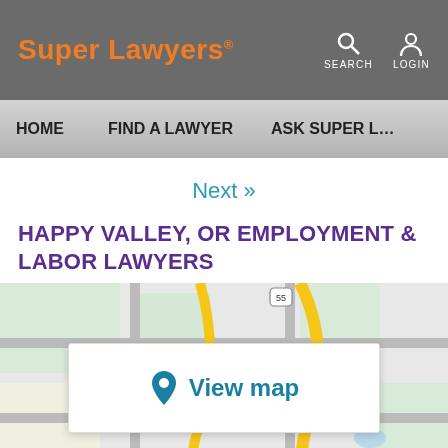Super Lawyers® | SEARCH | LOGIN
HOME | FIND A LAWYER | ASK SUPER L…
Next »
HAPPY VALLEY, OR EMPLOYMENT & LABOR LAWYERS
[Figure (map): Street map of Happy Valley, OR area showing Dodd Road and route 55 and 149, with a 'View map' overlay button in the center.]